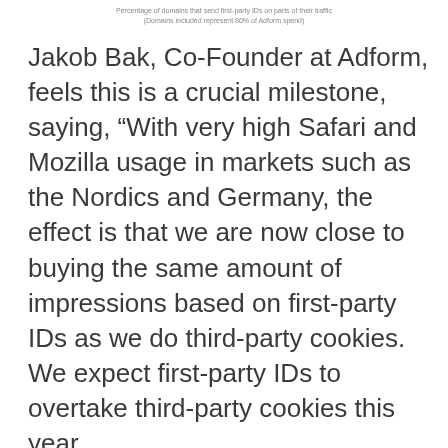Percentage of domains that send first-party IDs on parts of their traffic
(Domains included represent 80% of Adform spend)
Jakob Bak, Co-Founder at Adform, feels this is a crucial milestone, saying, “With very high Safari and Mozilla usage in markets such as the Nordics and Germany, the effect is that we are now close to buying the same amount of impressions based on first-party IDs as we do third-party cookies. We expect first-party IDs to overtake third-party cookies this year.
“That being said, the take-up rates across other countries vary significantly, and while publishers have proved they are ready, we now need the buy-side to ramp up adoption and we’re calling on CMOs to lead the charge. With the impressive scale now made